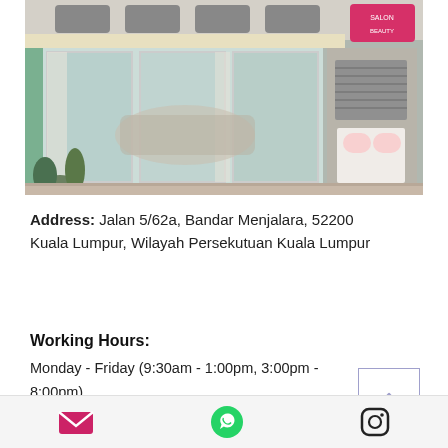[Figure (photo): Exterior photo of a shopfront with glass sliding doors, potted plants, parked cars visible through the glass, air conditioning units above, and a pink logo sign on the right.]
Address: Jalan 5/62a, Bandar Menjalara, 52200 Kuala Lumpur, Wilayah Persekutuan Kuala Lumpur
Working Hours:
Monday - Friday (9:30am - 1:00pm, 3:00pm - 8:00pm)
Saturday (9:30am - 5:00pm)
Sunday (9:30am - 1:00pm)
[Figure (infographic): Bottom navigation bar with three icons: email (pink envelope), WhatsApp (green), and Instagram (black)]